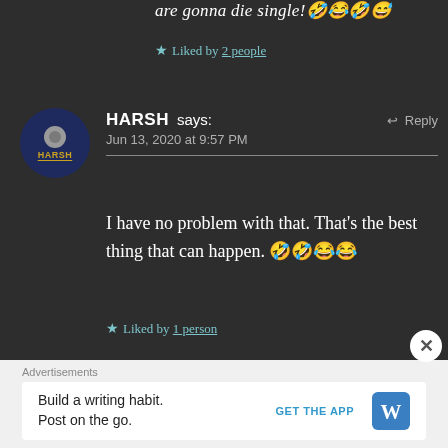are gonna die single! 🤣😂🤣😅
★ Liked by 2 people
HARSH says: Jun 13, 2020 at 9:57 PM ↩ Reply
I have no problem with that. That's the best thing that can happen. 🤣🤣😂😂
★ Liked by 1 person
Advertisements
Build a writing habit. Post on the go. GET THE APP